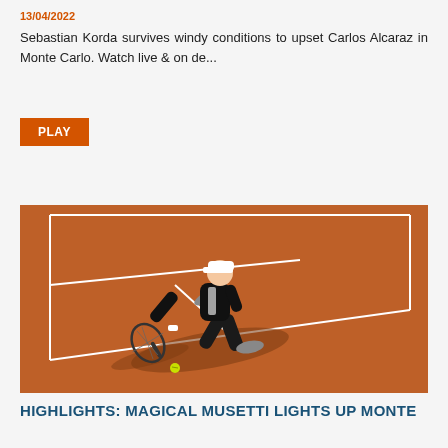13/04/2022
Sebastian Korda survives windy conditions to upset Carlos Alcaraz in Monte Carlo. Watch live & on de...
PLAY
[Figure (photo): Tennis player in dark kit reaching for a low ball on a clay court, seen from above, with long shadow cast on the red clay surface.]
HIGHLIGHTS: MAGICAL MUSETTI LIGHTS UP MONTE